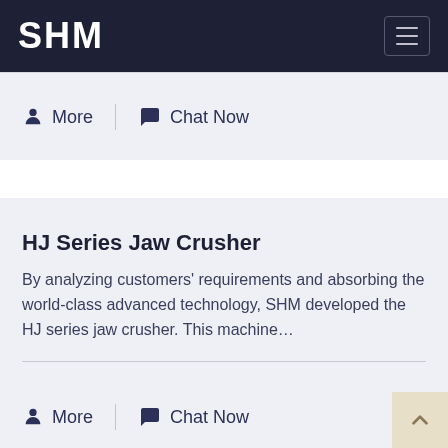SHM
More   Chat Now
HJ Series Jaw Crusher
By analyzing customers' requirements and absorbing the world-class advanced technology, SHM developed the HJ series jaw crusher. This machine…
More   Chat Now